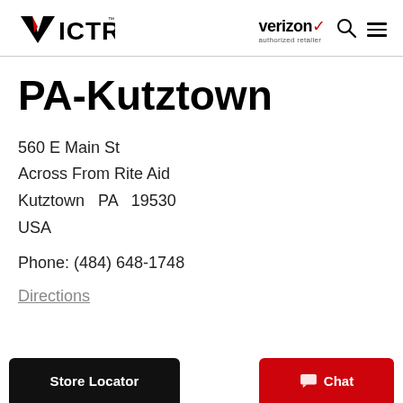VICTRA | verizon authorized retailer
PA-Kutztown
560 E Main St
Across From Rite Aid
Kutztown  PA  19530
USA
Phone: (484) 648-1748
Directions
Store Locator
Chat